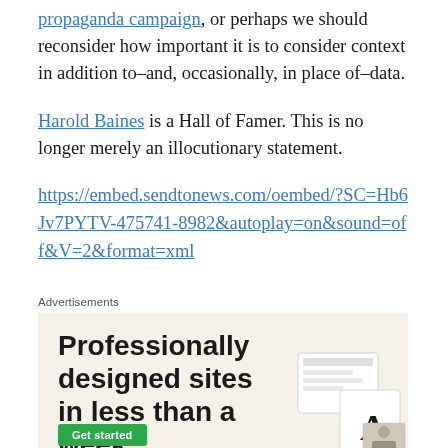propaganda campaign, or perhaps we should reconsider how important it is to consider context in addition to–and, occasionally, in place of–data.
Harold Baines is a Hall of Famer. This is no longer merely an illocutionary statement.
https://embed.sendtonews.com/oembed/?SC=Hb6Jv7PYTV-475741-8982&autoplay=on&sound=off&V=2&format=xml
Advertisements
[Figure (illustration): Advertisement box with beige background showing text 'Professionally designed sites in less than a week' with a green button and mockup images on the right.]